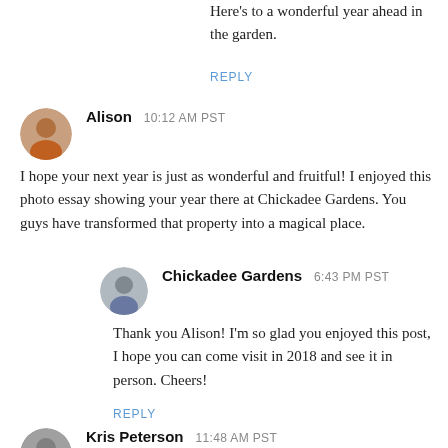Here's to a wonderful year ahead in the garden.
REPLY
Alison  10:12 AM PST
I hope your next year is just as wonderful and fruitful! I enjoyed this photo essay showing your year there at Chickadee Gardens. You guys have transformed that property into a magical place.
Chickadee Gardens  6:43 PM PST
Thank you Alison! I'm so glad you enjoyed this post, I hope you can come visit in 2018 and see it in person. Cheers!
REPLY
Kris Peterson  11:48 AM PST